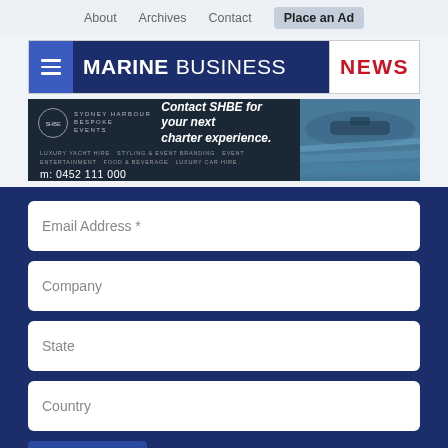About   Archives   Contact   Place an Ad
[Figure (logo): Marine Business News logo with hamburger menu button]
[Figure (photo): SHBE Bespoke Events advertisement banner: Contact SHBE for your next charter experience. LUXURY YACHT HIRE · STYLING & EVENT BRANDING · EVENT ENTERTAINMENT · FOOD & BEVERAGE · LUXURY CAR HIRE · m: 0452 111 000]
Email Address *
Company
State
Country
SUBMIT